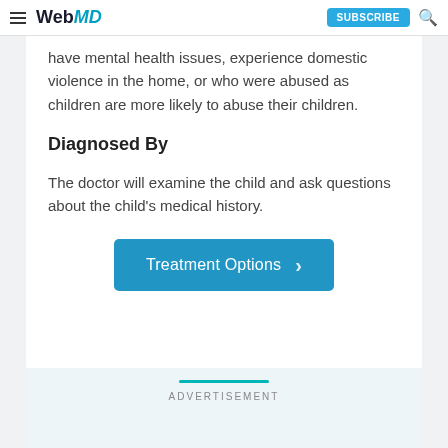WebMD | SUBSCRIBE
have mental health issues, experience domestic violence in the home, or who were abused as children are more likely to abuse their children.
Diagnosed By
The doctor will examine the child and ask questions about the child's medical history.
[Figure (other): Blue button labeled 'Treatment Options' with a right-pointing chevron arrow]
ADVERTISEMENT